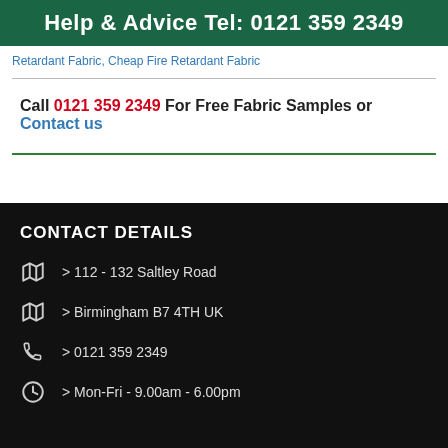Help & Advice Tel: 0121 359 2349
Retardant Fabric, Cheap Fire Retardant Fabric
Call 0121 359 2349 For Free Fabric Samples or Contact us
CONTACT DETAILS
> 112 - 132 Saltley Road
> Birmingham B7 4TH UK
> 0121 359 2349
> Mon-Fri - 9.00am - 6.00pm